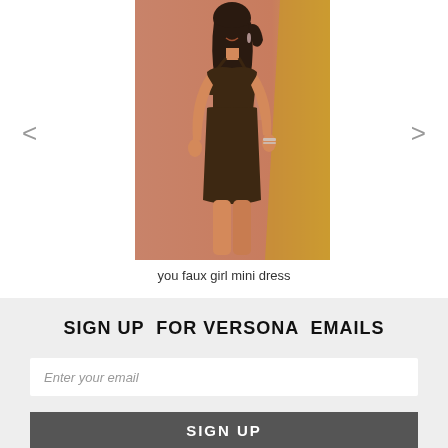[Figure (photo): A woman wearing a dark brown faux leather cut-out mini dress with spaghetti straps, posing against a warm terracotta and golden yellow background.]
you faux girl mini dress
SIGN UP  FOR VERSONA  EMAILS
Enter your email
SIGN UP